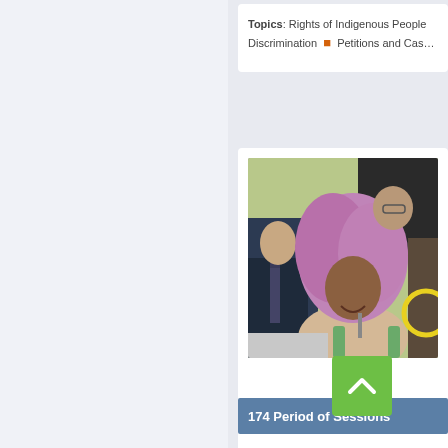Topics: Rights of Indigenous People · Discrimination ■ Petitions and Cases
[Figure (photo): Photo of several people at a conference table. A woman with curly purple hair is smiling and speaking into a microphone. A man in a suit and tie is leaning in on the left. Another person is partially visible on the right with a yellow circle overlay.]
174 Period of Sessions